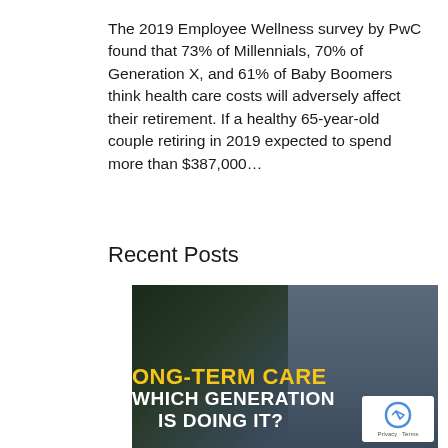The 2019 Employee Wellness survey by PwC found that 73% of Millennials, 70% of Generation X, and 61% of Baby Boomers think health care costs will adversely affect their retirement. If a healthy 65-year-old couple retiring in 2019 expected to spend more than $387,000…
Recent Posts
[Figure (screenshot): Video thumbnail showing a man in a blue shirt and tie with overlaid text reading 'ONG-TERM CARE WHICH GENERATION IS DOING IT?' in yellow and white bold text. A reCAPTCHA badge is visible in the lower right corner.]